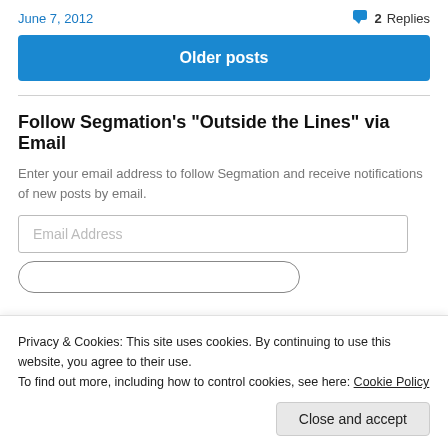June 7, 2012
2 Replies
Older posts
Follow Segmation's "Outside the Lines" via Email
Enter your email address to follow Segmation and receive notifications of new posts by email.
Email Address
Privacy & Cookies: This site uses cookies. By continuing to use this website, you agree to their use.
To find out more, including how to control cookies, see here: Cookie Policy
Close and accept